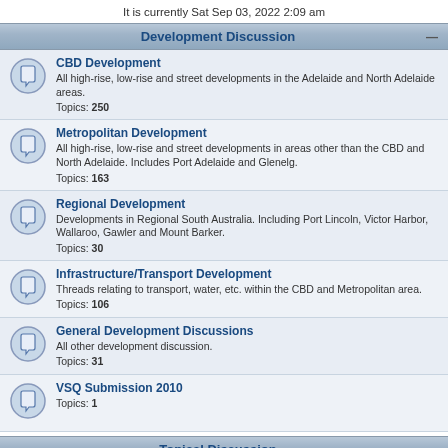It is currently Sat Sep 03, 2022 2:09 am
Development Discussion
CBD Development
All high-rise, low-rise and street developments in the Adelaide and North Adelaide areas.
Topics: 250
Metropolitan Development
All high-rise, low-rise and street developments in areas other than the CBD and North Adelaide. Includes Port Adelaide and Glenelg.
Topics: 163
Regional Development
Developments in Regional South Australia. Including Port Lincoln, Victor Harbor, Wallaroo, Gawler and Mount Barker.
Topics: 30
Infrastructure/Transport Development
Threads relating to transport, water, etc. within the CBD and Metropolitan area.
Topics: 106
General Development Discussions
All other development discussion.
Topics: 31
VSQ Submission 2010
Topics: 1
Topical Discussion
The Pub